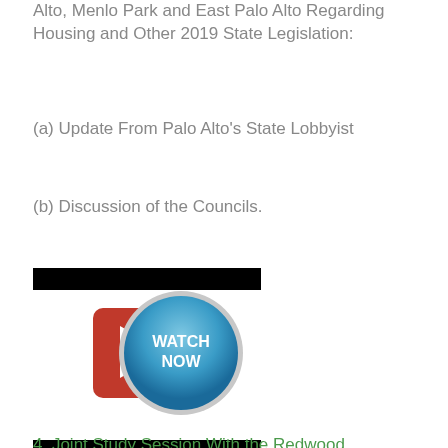Alto, Menlo Park and East Palo Alto Regarding Housing and Other 2019 State Legislation:
(a) Update From Palo Alto's State Lobbyist
(b) Discussion of the Councils.
[Figure (screenshot): A black redacted bar followed by a 'Watch Now' button with a red play button icon and a blue circular button labeled WATCH NOW, then another black redacted bar below.]
4. Joint Study Session With the Redwood...